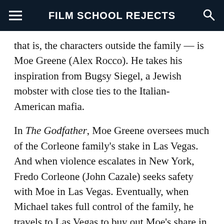FILM SCHOOL REJECTS
that is, the characters outside the family — is Moe Greene (Alex Rocco). He takes his inspiration from Bugsy Siegel, a Jewish mobster with close ties to the Italian-American mafia.
In The Godfather, Moe Greene oversees much of the Corleone family's stake in Las Vegas. And when violence escalates in New York, Fredo Corleone (John Cazale) seeks safety with Moe in Las Vegas. Eventually, when Michael takes full control of the family, he travels to Las Vegas to buy out Moe's share in the family's casinos. But as one of the city's founders, Moe is dismayed. The Corleone doesn't buy him out, he says, he buys the Corleone family out.